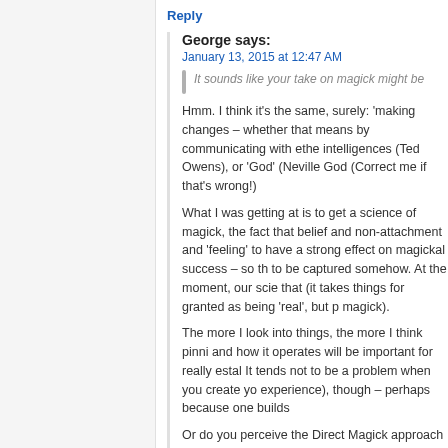Reply
George says:
January 13, 2015 at 12:47 AM
It sounds like your take on magick might be
Hmm. I think it's the same, surely: 'making changes – whether that means by communicating with ether intelligences (Ted Owens), or 'God' (Neville God (Correct me if that's wrong!)
What I was getting at is to get a science of magick, the fact that belief and non-attachment and 'feeling' to have a strong effect on magickal success – so th to be captured somehow. At the moment, our scie that (it takes things for granted as being 'real', but p magick).
The more I look into things, the more I think pinni and how it operates will be important for really estal It tends not to be a problem when you create yo experience), though – perhaps because one builds
Or do you perceive the Direct Magick approach to b
Reply
Mike Sententia says:
January 13, 2015 at 5:36 AM